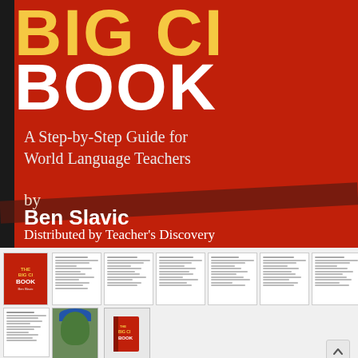BIG CI BOOK
A Step-by-Step Guide for World Language Teachers
by Ben Slavic
Distributed by Teacher's Discovery
[Figure (illustration): Thumbnail strip of book cover and interior pages from The Big CI Book by Ben Slavic, including a photo of a person wearing a blue hat and a 3D book rendering]